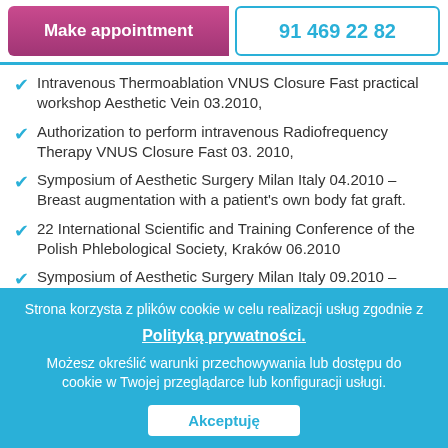[Figure (screenshot): Top navigation bar with 'Make appointment' button and phone number '91 469 22 82']
Intravenous Thermoablation VNUS Closure Fast practical workshop Aesthetic Vein 03.2010,
Authorization to perform intravenous Radiofrequency Therapy VNUS Closure Fast 03. 2010,
Symposium of Aesthetic Surgery Milan Italy 04.2010 – Breast augmentation with a patient's own body fat graft.
22 International Scientific and Training Conference of the Polish Phlebological Society, Kraków 06.2010
Symposium of Aesthetic Surgery Milan Italy 09.2010 – Current trends in breast enlargement and suspension.
Strona korzysta z plików cookie w celu realizacji usług zgodnie z Polityką prywatności. Możesz określić warunki przechowywania lub dostępu do cookie w Twojej przeglądarce lub konfiguracji usługi.
Akceptuję